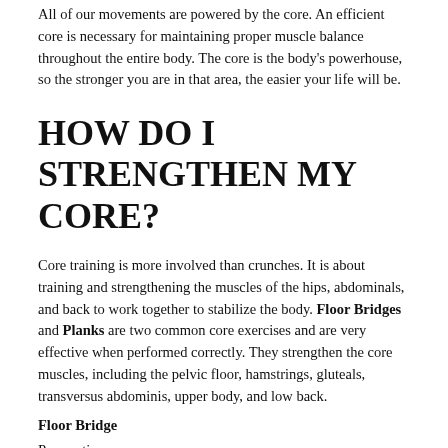All of our movements are powered by the core. An efficient core is necessary for maintaining proper muscle balance throughout the entire body. The core is the body's powerhouse, so the stronger you are in that area, the easier your life will be.
HOW DO I STRENGTHEN MY CORE?
Core training is more involved than crunches. It is about training and strengthening the muscles of the hips, abdominals, and back to work together to stabilize the body. Floor Bridges and Planks are two common core exercises and are very effective when performed correctly. They strengthen the core muscles, including the pelvic floor, hamstrings, gluteals, transversus abdominis, upper body, and low back.
Floor Bridge
Preparation
1.Lie supine on floor with knees bent, feet flat on the floor and toes shoulder-width apart and pointing straight ahead.
2. Place arms to the side, palms up.
Movement